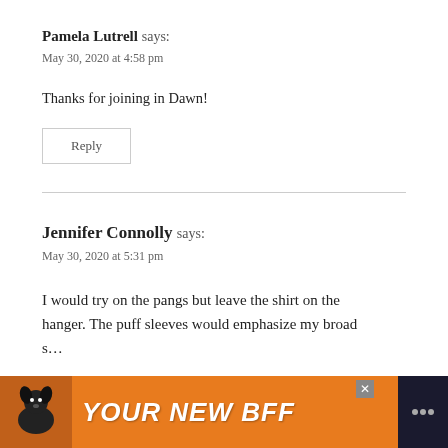Pamela Lutrell says:
May 30, 2020 at 4:58 pm
Thanks for joining in Dawn!
Reply
Jennifer Connolly says:
May 30, 2020 at 5:31 pm
I would try on the pangs but leave the shirt on the hanger. The puff sleeves would emphasize my broad s…
[Figure (other): Advertisement banner with orange background showing a dog and text 'YOUR NEW BFF' with a close button and dark right panel]